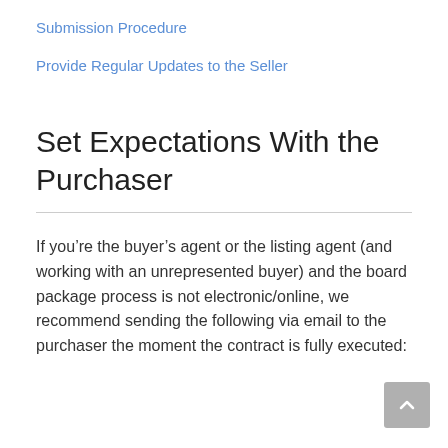Submission Procedure
Provide Regular Updates to the Seller
Set Expectations With the Purchaser
If you’re the buyer’s agent or the listing agent (and working with an unrepresented buyer) and the board package process is not electronic/online, we recommend sending the following via email to the purchaser the moment the contract is fully executed: